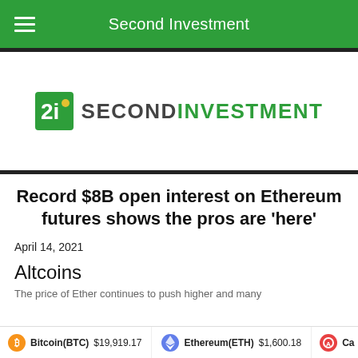Second Investment
[Figure (logo): Second Investment logo with stylized '2i' icon and text 'SECONDINVESTMENT' where SECOND is dark gray and INVESTMENT is green]
Record $8B open interest on Ethereum futures shows the pros are 'here'
April 14, 2021
Altcoins
The price of Ether continues to push higher and many
Bitcoin(BTC) $19,919.17   Ethereum(ETH) $1,600.18   Ca